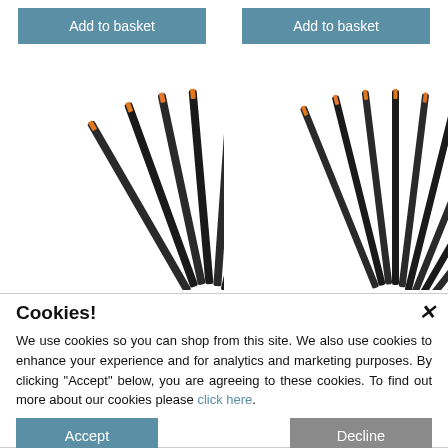[Figure (screenshot): Two 'Add to basket' buttons side by side on a teal/blue-grey background, each above product images of art paint brushes fanned out with orange tips on black handles.]
Cookies!

We use cookies so you can shop from this site. We also use cookies to enhance your experience and for analytics and marketing purposes. By clicking "Accept" below, you are agreeing to these cookies. To find out more about our cookies please click here.
Accept
Decline